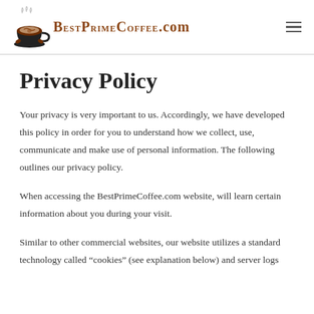BestPrimeCoffee.com
Privacy Policy
Your privacy is very important to us. Accordingly, we have developed this policy in order for you to understand how we collect, use, communicate and make use of personal information. The following outlines our privacy policy.
When accessing the BestPrimeCoffee.com website, will learn certain information about you during your visit.
Similar to other commercial websites, our website utilizes a standard technology called “cookies” (see explanation below) and server logs